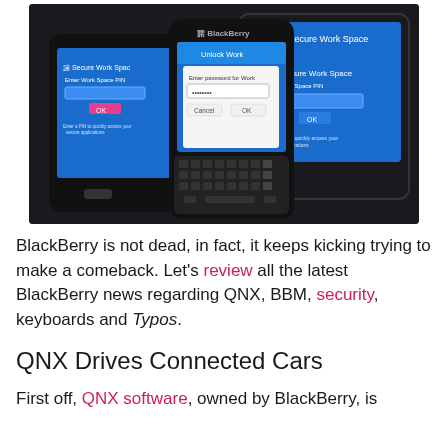[Figure (photo): Three BlackBerry devices (two smartphones and a tablet) displaying the Secure Work Space application with blue UI screens. The center device shows a BlackBerry Q10 with physical keyboard and an unlock/password dialog.]
BlackBerry is not dead, in fact, it keeps kicking trying to make a comeback. Let's review all the latest BlackBerry news regarding QNX, BBM, security, keyboards and Typos.
QNX Drives Connected Cars
First off, QNX software, owned by BlackBerry, is